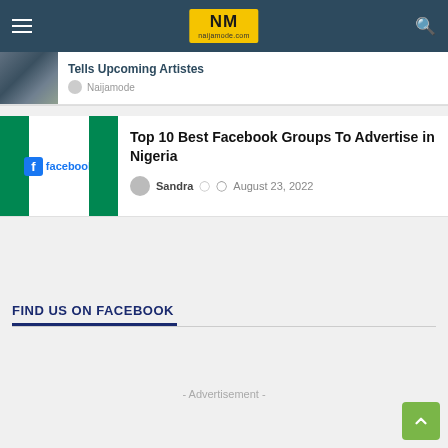NM - naijamode.com navigation bar
Tells Upcoming Artistes
Naijamode
[Figure (screenshot): Facebook logo on Nigerian flag background thumbnail]
Top 10 Best Facebook Groups To Advertise in Nigeria
Sandra   August 23, 2022
FIND US ON FACEBOOK
- Advertisement -